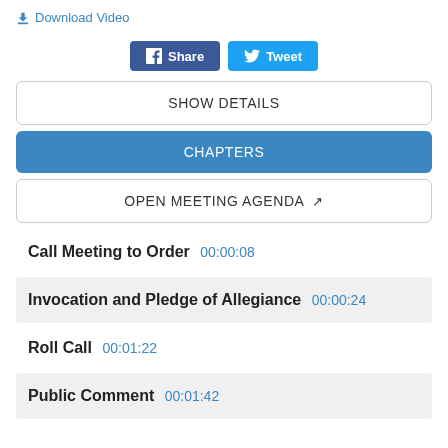⬇ Download Video
Share  Tweet
SHOW DETAILS
CHAPTERS
OPEN MEETING AGENDA ↗
Call Meeting to Order 00:00:08
Invocation and Pledge of Allegiance 00:00:24
Roll Call 00:01:22
Public Comment 00:01:42